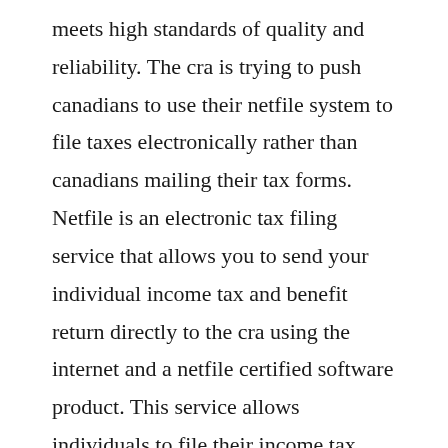meets high standards of quality and reliability. The cra is trying to push canadians to use their netfile system to file taxes electronically rather than canadians mailing their tax forms. Netfile is an electronic tax filing service that allows you to send your individual income tax and benefit return directly to the cra using the internet and a netfile certified software product. This service allows individuals to file their income tax returns over the internet in a fast, easytouse, and secure way.
If she is filing using netfile, then she need to